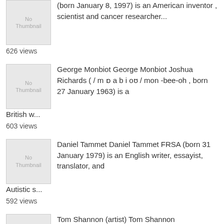(born January 8, 1997) is an American inventor , scientist and cancer researcher... 626 views
George Monbiot George Monbiot Joshua Richards ( / m ɒ a b i oʊ / mon -bee-oh , born 27 January 1963) is a British w... 603 views
Daniel Tammet Daniel Tammet FRSA (born 31 January 1979) is an English writer, essayist, translator, and Autistic s... 592 views
Tom Shannon (artist) Tom Shannon